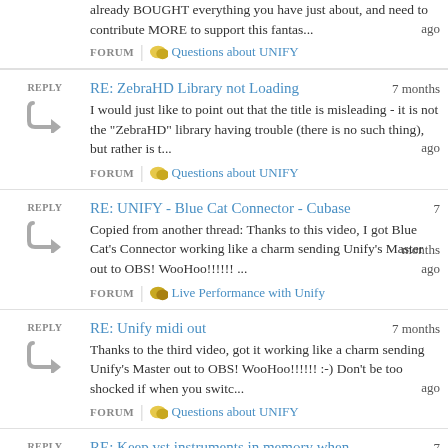already BOUGHT everything you have just about, and need to contribute MORE to support this fantas...
FORUM | Questions about UNIFY
RE: ZebraHD Library not Loading — 7 months ago
I would just like to point out that the title is misleading - it is not the "ZebraHD" library having trouble (there is no such thing), but rather is t...
FORUM | Questions about UNIFY
RE: UNIFY - Blue Cat Connector - Cubase — 7 months ago
Copied from another thread: Thanks to this video, I got Blue Cat's Connector working like a charm sending Unify's Master out to OBS! WooHoo!!!!!! ...
FORUM | Live Performance with Unify
RE: Unify midi out — 7 months ago
Thanks to the third video, got it working like a charm sending Unify's Master out to OBS! WooHoo!!!!!! :-) Don't be too shocked if when you switc...
FORUM | Questions about UNIFY
RE: Keep vst instruments in memory when — 7